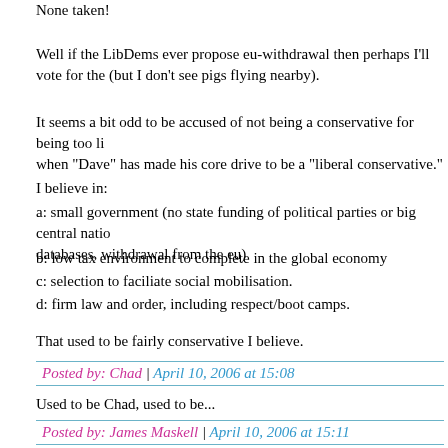None taken!
Well if the LibDems ever propose eu-withdrawal then perhaps I'll vote for the (but I don't see pigs flying nearby).
It seems a bit odd to be accused of not being a conservative for being too liberal, when "Dave" has made his core drive to be a "liberal conservative."
I believe in:
a: small government (no state funding of political parties or big central national databases, withdrawal from the eu)
b: low tax environment to complete in the global economy
c: selection to faciliate social mobilisation.
d: firm law and order, including respect/boot camps.
That used to be fairly conservative I believe.
Posted by: Chad | April 10, 2006 at 15:08
Used to be Chad, used to be...
Posted by: James Maskell | April 10, 2006 at 15:11